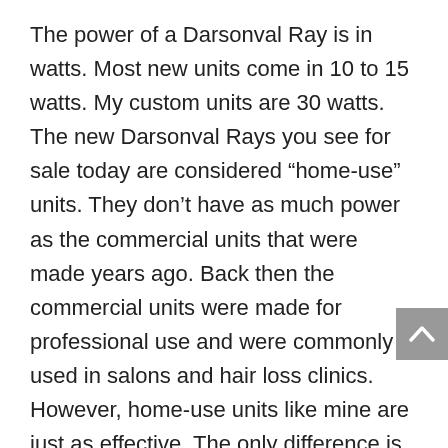The power of a Darsonval Ray is in watts. Most new units come in 10 to 15 watts. My custom units are 30 watts. The new Darsonval Rays you see for sale today are considered “home-use” units. They don’t have as much power as the commercial units that were made years ago. Back then the commercial units were made for professional use and were commonly used in salons and hair loss clinics. However, home-use units like mine are just as effective. The only difference is the treatment time is longer to compensate for the decreased power. I highly recommend a home-use unit because they are safer (less chance of burning yourself). Always ask how many watts the Darsonval Ray is that you are considering purchasing.